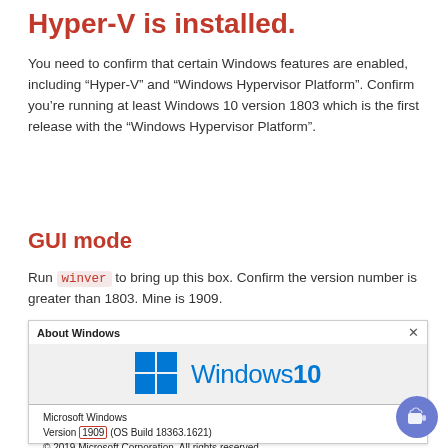Hyper-V is installed.
You need to confirm that certain Windows features are enabled, including “Hyper-V” and “Windows Hypervisor Platform”. Confirm you’re running at least Windows 10 version 1803 which is the first release with the “Windows Hypervisor Platform”.
GUI mode
Run winver to bring up this box. Confirm the version number is greater than 1803. Mine is 1909.
[Figure (screenshot): About Windows dialog showing Windows 10 logo with version information: Microsoft Windows, Version 1909 (OS Build 18363.1621), © 2019 Microsoft Corporation. All rights reserved. The Windows 10 Enterprise operating system and its user interface are protected by trademark and other pending or existing intellectual property]